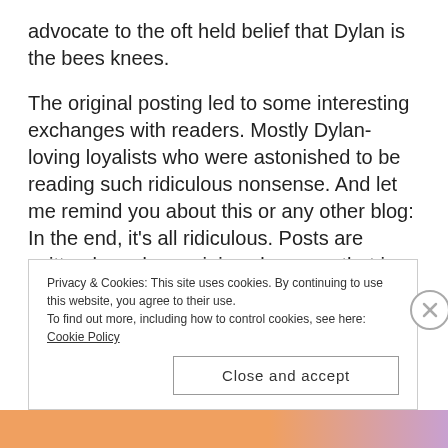advocate to the oft held belief that Dylan is the bees knees.
The original posting led to some interesting exchanges with readers. Mostly Dylan-loving loyalists who were astonished to be reading such ridiculous nonsense. And let me remind you about this or any other blog: In the end, it’s all ridiculous. Posts are written based on opinions because that is what each and every one of us has that is 100% unique to ourselves: our opinion. It could be ones based on taste: Hey, I like that beat and singer. It could be
Privacy & Cookies: This site uses cookies. By continuing to use this website, you agree to their use.
To find out more, including how to control cookies, see here: Cookie Policy
Close and accept